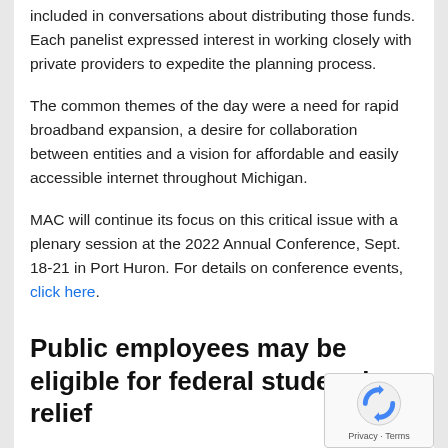included in conversations about distributing those funds. Each panelist expressed interest in working closely with private providers to expedite the planning process.
The common themes of the day were a need for rapid broadband expansion, a desire for collaboration between entities and a vision for affordable and easily accessible internet throughout Michigan.
MAC will continue its focus on this critical issue with a plenary session at the 2022 Annual Conference, Sept. 18-21 in Port Huron. For details on conference events, click here.
Public employees may be eligible for federal student loan relief